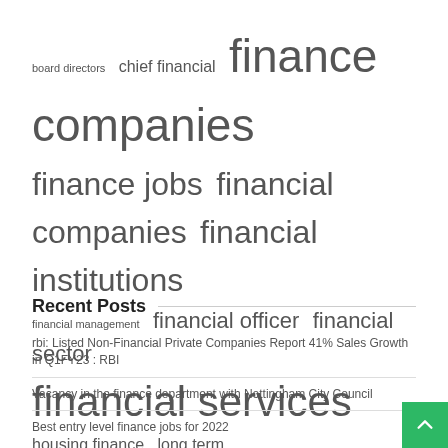board directors  chief financial  finance companies  finance jobs  financial companies  financial institutions  financial management  financial officer  financial sector  financial services  housing finance  long term  managing director  real estate  united states
Recent Posts
rbi: Listed Non-Financial Private Companies Report 41% Sales Growth in Q1FY23 : RBI
Vacancy in the finance department with Nottingham City Council
Best entry level finance jobs for 2022